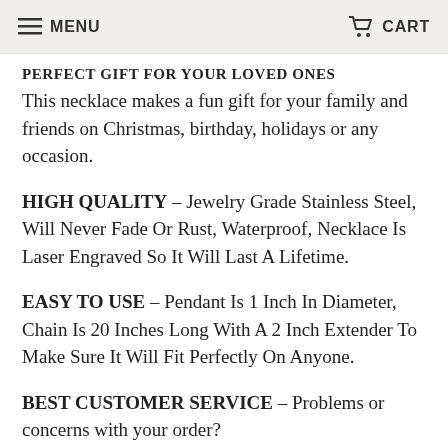MENU    CART
PERFECT GIFT FOR YOUR LOVED ONES
This necklace makes a fun gift for your family and friends on Christmas, birthday, holidays or any occasion.
HIGH QUALITY – Jewelry Grade Stainless Steel, Will Never Fade Or Rust, Waterproof, Necklace Is Laser Engraved So It Will Last A Lifetime.
EASY TO USE – Pendant Is 1 Inch In Diameter, Chain Is 20 Inches Long With A 2 Inch Extender To Make Sure It Will Fit Perfectly On Anyone.
BEST CUSTOMER SERVICE – Problems or concerns with your order?
Just send us an email and we will make it...